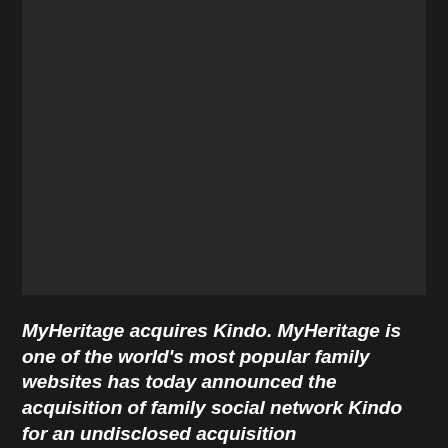[Figure (photo): Dark/black image placeholder area]
MyHeritage acquires Kindo. MyHeritage is one of the world's most popular family websites has today announced the acquisition of family social network Kindo for an undisclosed acquisition